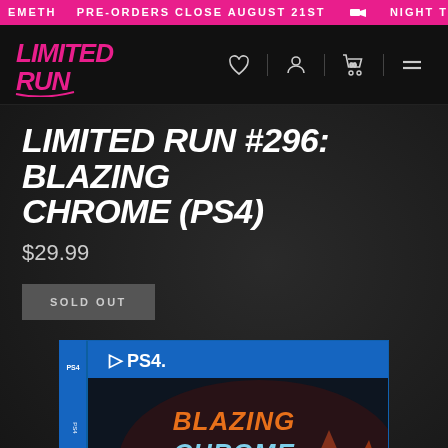EMETH  PRE-ORDERS CLOSE AUGUST 21ST  NIGHT TRA
[Figure (logo): Limited Run Games logo in pink/magenta italic handwritten style]
LIMITED RUN #296: BLAZING CHROME (PS4)
$29.99
SOLD OUT
[Figure (photo): PS4 game box for Blazing Chrome showing game art with blue PS4 branding strip and orange/yellow stylized title text]